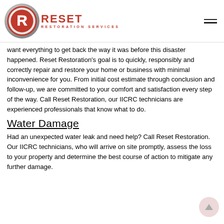[Figure (logo): Reset Restoration Services logo — circular red and silver emblem with letter R, red bold text RESET, subtitle RESTORATION SERVICES]
want everything to get back the way it was before this disaster happened. Reset Restoration's goal is to quickly, responsibly and correctly repair and restore your home or business with minimal inconvenience for you. From initial cost estimate through conclusion and follow-up, we are committed to your comfort and satisfaction every step of the way. Call Reset Restoration, our IICRC technicians are experienced professionals that know what to do.
Water Damage
Had an unexpected water leak and need help? Call Reset Restoration. Our IICRC technicians, who will arrive on site promptly, assess the loss to your property and determine the best course of action to mitigate any further damage.